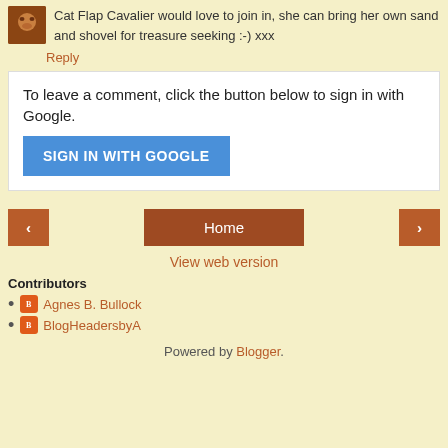Cat Flap Cavalier would love to join in, she can bring her own sand and shovel for treasure seeking :-) xxx
Reply
To leave a comment, click the button below to sign in with Google.
SIGN IN WITH GOOGLE
Home
View web version
Contributors
Agnes B. Bullock
BlogHeadersbyA
Powered by Blogger.